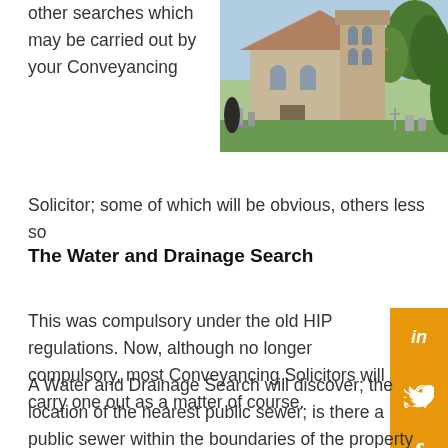other searches which may be carried out by your Conveyancing Solicitor; some of which will be obvious, others less so
[Figure (photo): A stone church with gothic arched windows and a graveyard with tombstones in front, surrounded by green trees and grass]
The Water and Drainage Search
This was compulsory under the old HIP regulations. Now, although no longer compulsory, most Conveyancing Solicitors will carry one out as a matter of course.
A Water and Drainage Search will discover; the location of the nearest public sewer; is there a public sewer within the boundaries of the property and whether the sewers are adopted or still private.